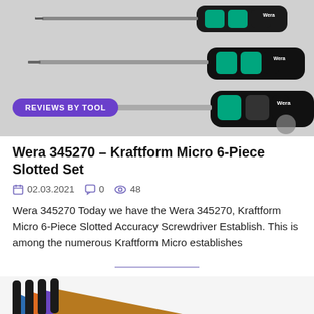[Figure (photo): Wera screwdrivers with black and green grips on a light background, with a purple 'REVIEWS BY TOOL' badge overlay]
Wera 345270 – Kraftform Micro 6-Piece Slotted Set
02.03.2021   0   48
Wera 345270 Today we have the Wera 345270, Kraftform Micro 6-Piece Slotted Accuracy Screwdriver Establish. This is among the numerous Kraftform Micro establishes
[Figure (photo): Colorful Wera hex key set with blue, orange, purple, and yellow handles fanned out on white background]